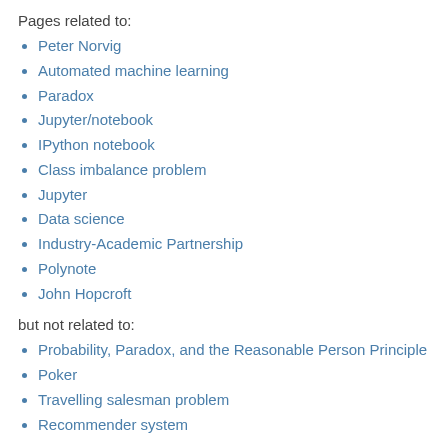Pages related to:
Peter Norvig
Automated machine learning
Paradox
Jupyter/notebook
IPython notebook
Class imbalance problem
Jupyter
Data science
Industry-Academic Partnership
Polynote
John Hopcroft
but not related to:
Probability, Paradox, and the Reasonable Person Principle
Poker
Travelling salesman problem
Recommender system